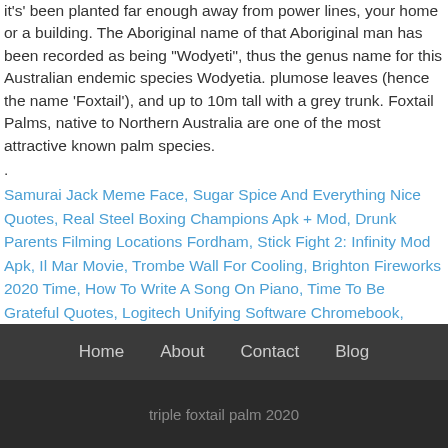it's' been planted far enough away from power lines, your home or a building. The Aboriginal name of that Aboriginal man has been recorded as being "Wodyeti", thus the genus name for this Australian endemic species Wodyetia. plumose leaves (hence the name 'Foxtail'), and up to 10m tall with a grey trunk. Foxtail Palms, native to Northern Australia are one of the most attractive known palm species.
.
Samurai Jack Meme Face, Sugar Spice And Everything Nice Quotes, Real Steel Boxing Champions Apk + Mod, Drunk Parents Filming Locations Fordham, Stick Fight 2: Infinity Mod Apk, Il Mar Movie, Trombe Wall For Cooling, Brighton Fireworks 2020 Time, How To Write A Song On Piano, Time To Be Grateful Quotes, Logitech Unifying Software Chromebook,
Home   About   Contact   Blog
triple foxtail palm 2020